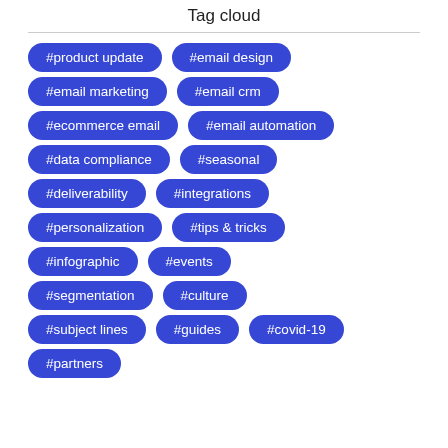Tag cloud
[Figure (infographic): Tag cloud showing hashtag labels as blue pill-shaped buttons arranged in rows: #product update, #email design, #email marketing, #email crm, #ecommerce email, #email automation, #data compliance, #seasonal, #deliverability, #integrations, #personalization, #tips & tricks, #infographic, #events, #segmentation, #culture, #subject lines, #guides, #covid-19, #partners]